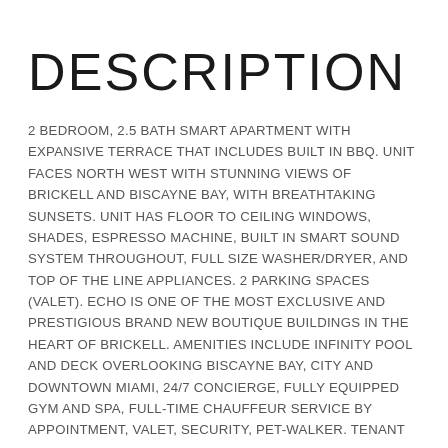DESCRIPTION
2 BEDROOM, 2.5 BATH SMART APARTMENT WITH EXPANSIVE TERRACE THAT INCLUDES BUILT IN BBQ. UNIT FACES NORTH WEST WITH STUNNING VIEWS OF BRICKELL AND BISCAYNE BAY, WITH BREATHTAKING SUNSETS. UNIT HAS FLOOR TO CEILING WINDOWS, SHADES, ESPRESSO MACHINE, BUILT IN SMART SOUND SYSTEM THROUGHOUT, FULL SIZE WASHER/DRYER, AND TOP OF THE LINE APPLIANCES. 2 PARKING SPACES (VALET). ECHO IS ONE OF THE MOST EXCLUSIVE AND PRESTIGIOUS BRAND NEW BOUTIQUE BUILDINGS IN THE HEART OF BRICKELL. AMENITIES INCLUDE INFINITY POOL AND DECK OVERLOOKING BISCAYNE BAY, CITY AND DOWNTOWN MIAMI, 24/7 CONCIERGE, FULLY EQUIPPED GYM AND SPA, FULL-TIME CHAUFFEUR SERVICE BY APPOINTMENT, VALET, SECURITY, PET-WALKER. TENANT